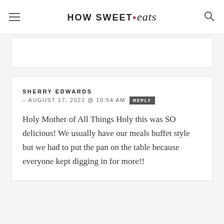HOW SWEET • eats
SHERRY EDWARDS – AUGUST 17, 2022 @ 10:54 AM REPLY
Holy Mother of All Things Holy this was SO delicious! We usually have our meals buffet style but we had to put the pan on the table because everyone kept digging in for more!!